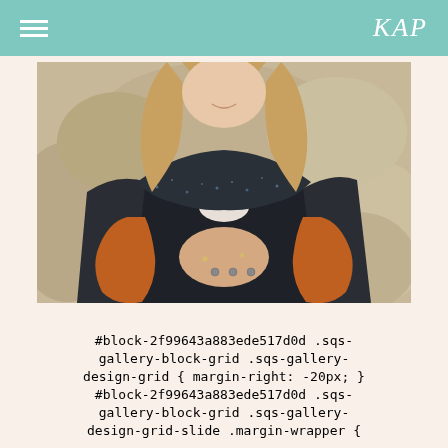KAP
[Figure (photo): A woman smiling, wearing an orange/rust chunky knit cardigan over a dark speckled duster coat, with long blonde hair, hands clasped in front, against a rocky background. Photo is cropped to show torso and lower face.]
#block-2f99643a883ede517d0d .sqs-gallery-block-grid .sqs-gallery-design-grid { margin-right: -20px; } #block-2f99643a883ede517d0d .sqs-gallery-block-grid .sqs-gallery-design-grid-slide .margin-wrapper {